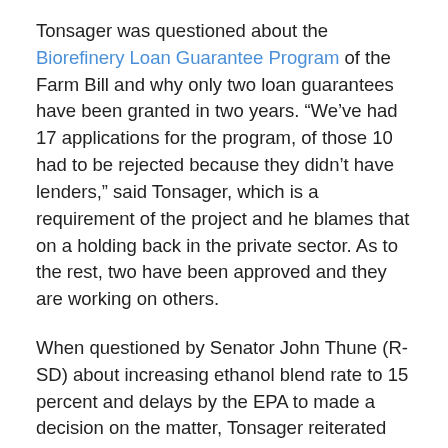Tonsager was questioned about the Biorefinery Loan Guarantee Program of the Farm Bill and why only two loan guarantees have been granted in two years. “We’ve had 17 applications for the program, of those 10 had to be rejected because they didn’t have lenders,” said Tonsager, which is a requirement of the project and he blames that on a holding back in the private sector. As to the rest, two have been approved and they are working on others.
When questioned by Senator John Thune (R-SD) about increasing ethanol blend rate to 15 percent and delays by the EPA to made a decision on the matter, Tonsager reiterated USDA’s support of the increase and Secretary Tom Vilsack’s advocacy for it. Tonsager also said that he believes federal forest lands have potential to provide biomass for energy production, supporting the definition of renewable biomass in the Farm Bill, something that Thune advocates. “We thought the Farm Bill struck the balance